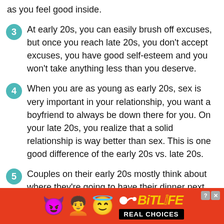as you feel good inside.
3  At early 20s, you can easily brush off excuses, but once you reach late 20s, you don't accept excuses, you have good self-esteem and you won't take anything less than you deserve.
4  When you are as young as early 20s, sex is very important in your relationship, you want a boyfriend to always be down there for you. On your late 20s, you realize that a solid relationship is way better than sex. This is one good difference of the early 20s vs. late 20s.
5  Couples on their early 20s mostly think about where they're going to have their dinner next, but for those on their l[ad]ship will be[ad]
[Figure (screenshot): Advertisement banner for BitLife app with orange/red background, devil emoji, woman emoji, angel emoji, sperm icon, BitLife logo in yellow italic text, and 'REAL CHOICES' in black bar. Help and close icons in top right.]